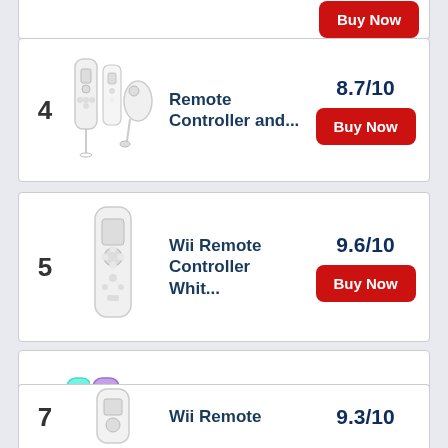[Figure (screenshot): Partial product listing row showing a Buy Now red button at top of page]
4
[Figure (photo): White Wii Remote controller and Nunchuk]
Remote Controller and...
8.7/10
Buy Now
5
[Figure (photo): White Wii Remote Controller]
Wii Remote Controller Whit...
9.6/10
Buy Now
6
[Figure (photo): KDYGPDCT colorful Wii controllers in teal and purple]
KDYGPDCT Wii Controller, Wii...
9.6/10
Buy Now
7
[Figure (photo): White Wii Remote controller partial view]
Wii Remote
9.3/10